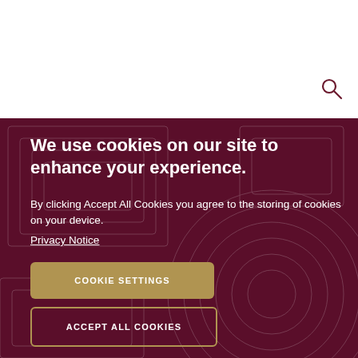[Figure (other): Search icon (magnifying glass) in dark maroon color on white background, top-right area]
We use cookies on our site to enhance your experience.
By clicking Accept All Cookies you agree to the storing of cookies on your device.
Privacy Notice
COOKIE SETTINGS
ACCEPT ALL COOKIES